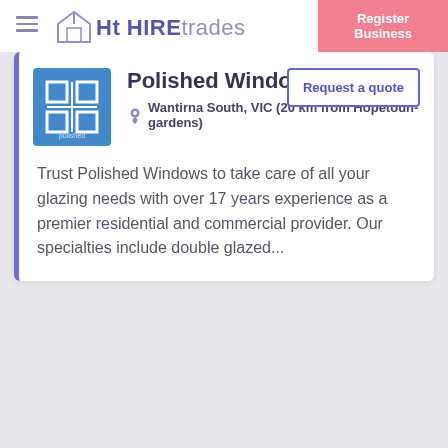HIREtrades
Polished Windows
Wantirna South, VIC (20 km from Hopetoun-gardens)
Trust Polished Windows to take care of all your glazing needs with over 17 years experience as a premier residential and commercial provider. Our specialties include double glazed...